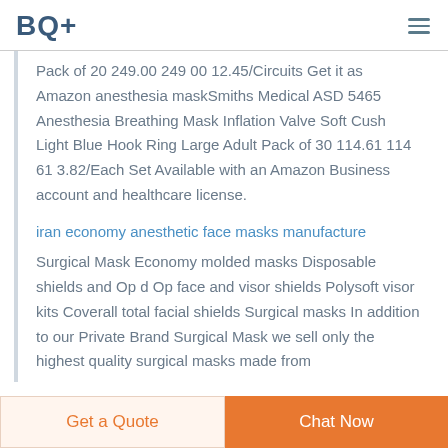BQ+
Pack of 20 249.00 249 00 12.45/Circuits Get it as Amazon anesthesia maskSmiths Medical ASD 5465 Anesthesia Breathing Mask Inflation Valve Soft Cush Light Blue Hook Ring Large Adult Pack of 30 114.61 114 61 3.82/Each Set Available with an Amazon Business account and healthcare license.
iran economy anesthetic face masks manufacture
Surgical Mask Economy molded masks Disposable shields and Op d Op face and visor shields Polysoft visor kits Coverall total facial shields Surgical masks In addition to our Private Brand Surgical Mask we sell only the highest quality surgical masks made from